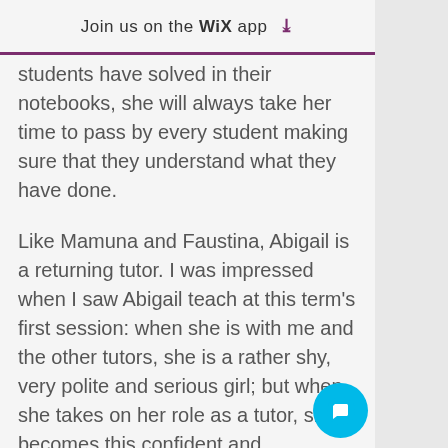Join us on the WiX app ↓
students have solved in their notebooks, she will always take her time to pass by every student making sure that they understand what they have done.
Like Mamuna and Faustina, Abigail is a returning tutor. I was impressed when I saw Abigail teach at this term's first session: when she is with me and the other tutors, she is a rather shy, very polite and serious girl; but when she takes on her role as a tutor, she becomes this confident and charismatic leader. Abigail has also managed to create a solid relationship with her students.